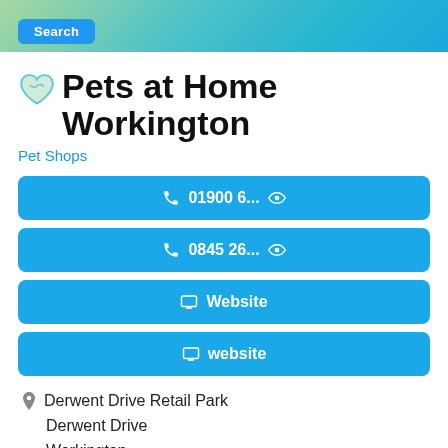[Figure (screenshot): Top banner with green-to-blue gradient and a blue Search button]
Pets at Home Workington
Pet Shops
01900 6...
0845 26...
Website
website
Derwent Drive Retail Park
Derwent Drive
Workington
CA14 3YW